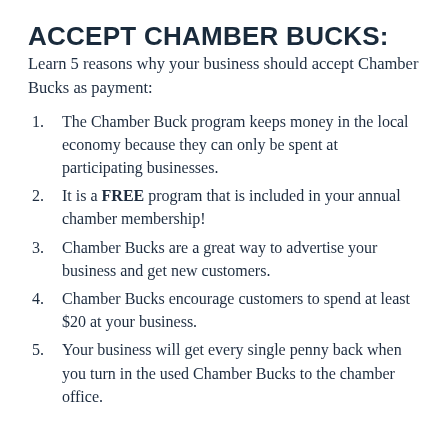ACCEPT CHAMBER BUCKS:
Learn 5 reasons why your business should accept Chamber Bucks as payment:
The Chamber Buck program keeps money in the local economy because they can only be spent at participating businesses.
It is a FREE program that is included in your annual chamber membership!
Chamber Bucks are a great way to advertise your business and get new customers.
Chamber Bucks encourage customers to spend at least $20 at your business.
Your business will get every single penny back when you turn in the used Chamber Bucks to the chamber office.